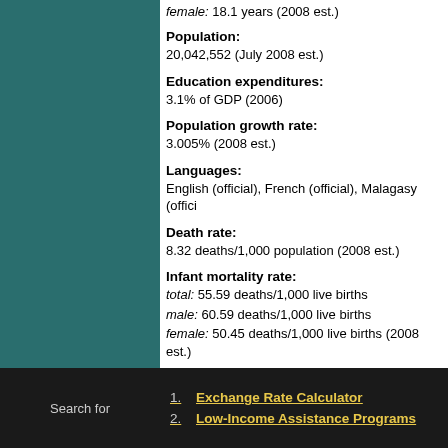female: 18.1 years (2008 est.)
Population:
20,042,552 (July 2008 est.)
Education expenditures:
3.1% of GDP (2006)
Population growth rate:
3.005% (2008 est.)
Languages:
English (official), French (official), Malagasy (offic
Death rate:
8.32 deaths/1,000 population (2008 est.)
Infant mortality rate:
total: 55.59 deaths/1,000 live births
male: 60.59 deaths/1,000 live births
female: 50.45 deaths/1,000 live births (2008 est.)
HIV/AIDS - deaths:
7,500 (2003 est.)
Search for
1. Exchange Rate Calculator
2. Low-Income Assistance Programs